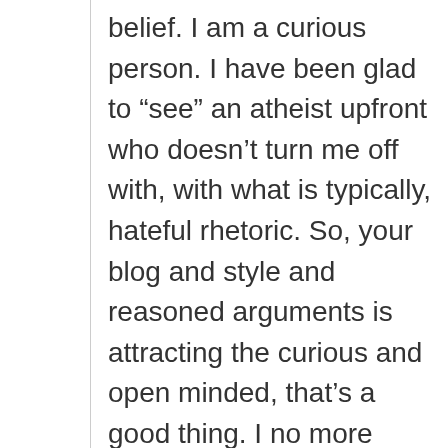belief. I am a curious person. I have been glad to “see” an atheist upfront who doesn’t turn me off with, with what is typically, hateful rhetoric. So, your blog and style and reasoned arguments is attracting the curious and open minded, that’s a good thing. I no more want to read vitriol from an atheist as I do from a believer.